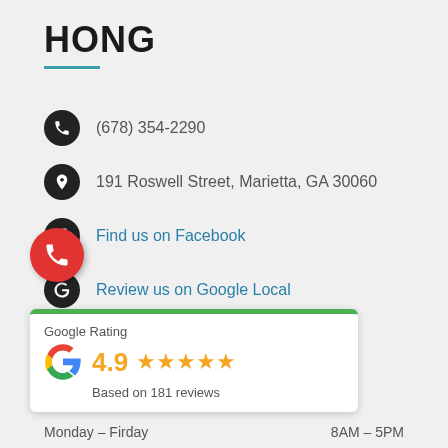HONG
(678) 354-2290
191 Roswell Street, Marietta, GA 30060
Find us on Facebook
Review us on Google Local
[Figure (infographic): Google Rating widget showing 4.9 stars based on 181 reviews, with Google G logo and green top border]
Monday – Firday                    8AM – 5PM